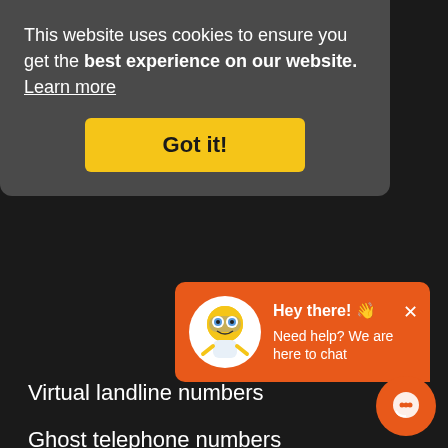This website uses cookies to ensure you get the best experience on our website. Learn more
Got it!
Virtual landline numbers
Ghost telephone numbers
Cloud based numbers
Pocket landline numbers
Geogra...
03 loca...
UK city...
Mobile landline numbers
Non geographic phone numbers
Free 08 telephone numbers
FREE Business number for your mobile
[Figure (other): Chat popup with cartoon character mascot. Orange background. Text: Hey there! 👋 Need help? We are here to chat. Close button X.]
[Figure (other): Orange circular chat button in bottom right corner with chat icon.]